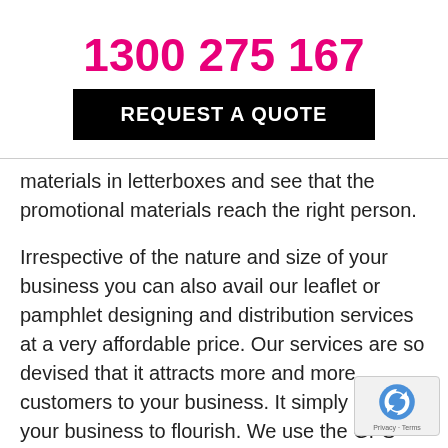1300 275 167
REQUEST A QUOTE
materials in letterboxes and see that the promotional materials reach the right person.
Irrespective of the nature and size of your business you can also avail our leaflet or pamphlet designing and distribution services at a very affordable price. Our services are so devised that it attracts more and more customers to your business. It simply aids your business to flourish. We use the GPS tracking system to track every letterbox distribution in Notting Hill. We offer standard marketing